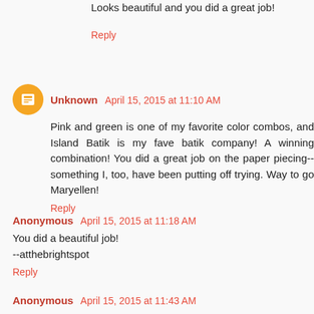Looks beautiful and you did a great job!
Reply
Unknown  April 15, 2015 at 11:10 AM
Pink and green is one of my favorite color combos, and Island Batik is my fave batik company! A winning combination! You did a great job on the paper piecing--something I, too, have been putting off trying. Way to go Maryellen!
Reply
Anonymous  April 15, 2015 at 11:18 AM
You did a beautiful job!
--atthebrightspot
Reply
Anonymous  April 15, 2015 at 11:43 AM